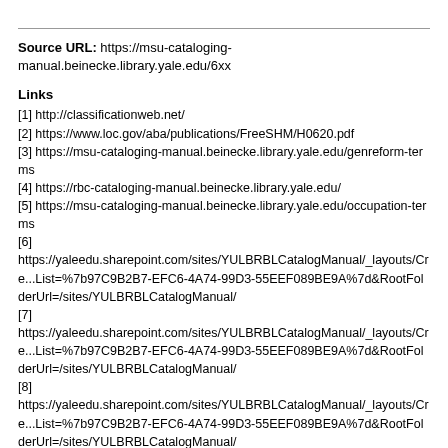Source URL: https://msu-cataloging-manual.beinecke.library.yale.edu/6xx
Links
[1] http://classificationweb.net/
[2] https://www.loc.gov/aba/publications/FreeSHM/H0620.pdf
[3] https://msu-cataloging-manual.beinecke.library.yale.edu/genreform-terms
[4] https://rbc-cataloging-manual.beinecke.library.yale.edu/
[5] https://msu-cataloging-manual.beinecke.library.yale.edu/occupation-terms
[6] https://yaleedu.sharepoint.com/sites/YULBRBLCatalogManual/_layouts/Cre...List=%7b97C9B2B7-EFC6-4A74-99D3-55EEF089BE9A%7d&amp;RootFolderUrl=/sites/YULBRBLCatalogManual/
[7] https://yaleedu.sharepoint.com/sites/YULBRBLCatalogManual/_layouts/Cre...List=%7b97C9B2B7-EFC6-4A74-99D3-55EEF089BE9A%7d&amp;RootFolderUrl=/sites/YULBRBLCatalogManual/
[8] https://yaleedu.sharepoint.com/sites/YULBRBLCatalogManual/_layouts/Cre...List=%7b97C9B2B7-EFC6-4A74-99D3-55EEF089BE9A%7d&amp;RootFolderUrl=/sites/YULBRBLCatalogManual/
[9] https://msu-cataloging-manual.beinecke.library.yale.edu/7xx#710
[10] https://rbc-cataloging-manual.beinecke.library.yale.edu/provenance-notes-and-tracings